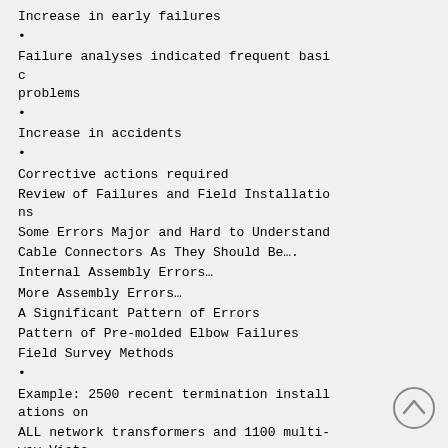Increase in early failures
•
Failure analyses indicated frequent basic problems
•
Increase in accidents
•
Corrective actions required
Review of Failures and Field Installations
Some Errors Major and Hard to Understand
Cable Connectors As They Should Be….
Internal Assembly Errors…
More Assembly Errors…
A Significant Pattern of Errors
Pattern of Pre-molded Elbow Failures
Field Survey Methods
•
Example: 2500 recent termination installations on
ALL network transformers and 1100 multi-way Vista switches